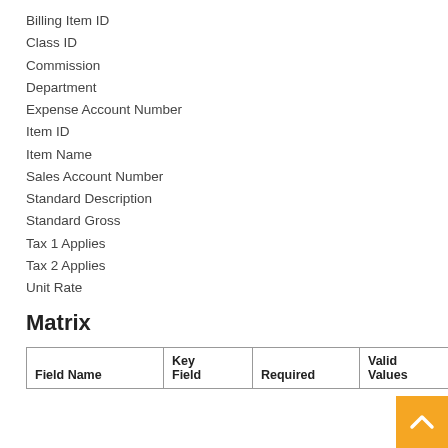Billing Item ID
Class ID
Commission
Department
Expense Account Number
Item ID
Item Name
Sales Account Number
Standard Description
Standard Gross
Tax 1 Applies
Tax 2 Applies
Unit Rate
Matrix
| Field Name | Key Field | Required | Valid Values | Table Validation |
| --- | --- | --- | --- | --- |